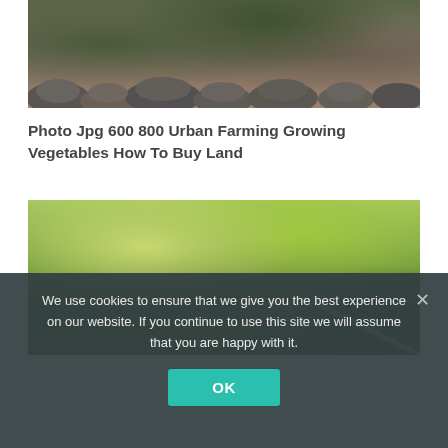[Figure (photo): Garden photo showing rocks and stone border with plants and reddish gravel/mulch in background]
Photo Jpg 600 800 Urban Farming Growing Vegetables How To Buy Land
[Figure (photo): Outdoor photo showing green leafy tree branches and foliage viewed from below, with a diagonal metal rail or bar visible]
We use cookies to ensure that we give you the best experience on our website. If you continue to use this site we will assume that you are happy with it.